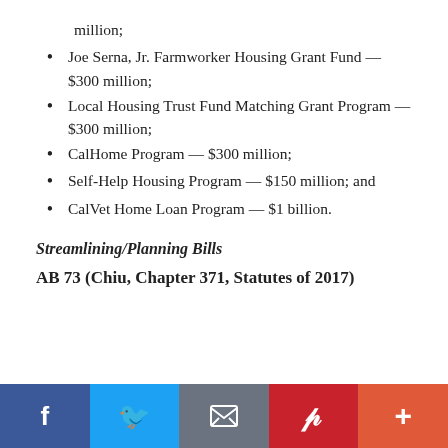million;
Joe Serna, Jr. Farmworker Housing Grant Fund — $300 million;
Local Housing Trust Fund Matching Grant Program — $300 million;
CalHome Program — $300 million;
Self-Help Housing Program — $150 million; and
CalVet Home Loan Program — $1 billion.
Streamlining/Planning Bills
AB 73 (Chiu, Chapter 371, Statutes of 2017)